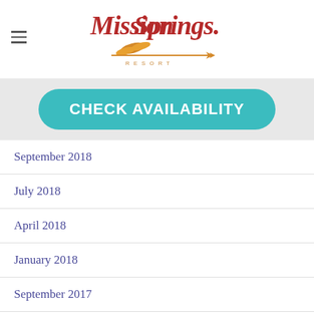[Figure (logo): Mission Springs Resort logo with red script text and gold arrow/feather decoration]
CHECK AVAILABILITY
September 2018
July 2018
April 2018
January 2018
September 2017
August 2017
August 2016
April 2016